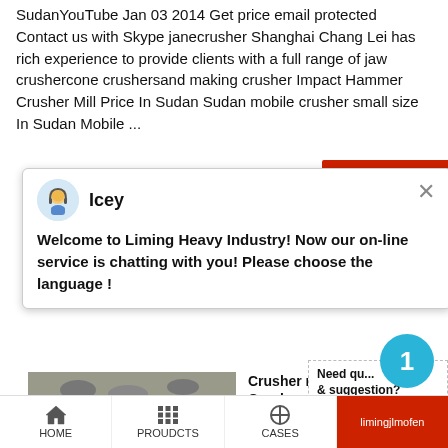SudanYouTube Jan 03 2014 Get price email protected Contact us with Skype janecrusher Shanghai Chang Lei has rich experience to provide clients with a full range of jaw crushercone crushersand making crusher Impact Hammer Crusher Mill Price In Sudan Sudan mobile crusher small size In Sudan Mobile ...
[Figure (screenshot): Chat popup with avatar of Icey, message: Welcome to Liming Heavy Industry! Now our on-line service is chatting with you! Please choose the language !, close button (×)]
Welcome to Liming Heavy Industry! Now our on-line service is chatting with you! Please choose the language !
[Figure (photo): Industrial crusher/conveyor machinery photograph]
Crusher mo
Crusher
Spiral Classifier R... Crusher Hammer Crusher Get Price. shanghai sh... machinery is one China special manufacturer. Ma... stone crushing line and mining line eqipment, incl...
Need qu... & suggestion?
Chat Now
Enquiry
limingjlmofen
HOME    PROUDCTS    CASES    limingjlmofen